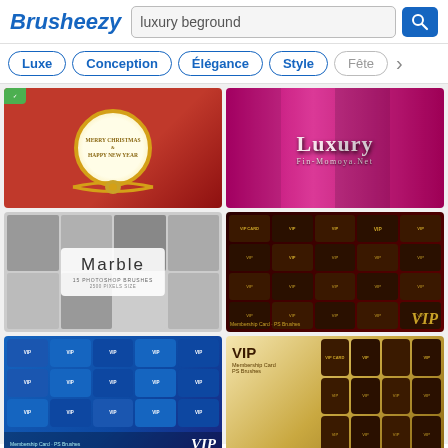Brusheezy — luxury beground
Luxe
Conception
Élégance
Style
Fête
[Figure (photo): Merry Christmas & Happy New Year gold ornament on red background]
[Figure (photo): Luxury Fin-Momoya.Net text on pink/magenta patterned background]
[Figure (photo): Marble Photoshop Brushes collection — 15 brushes, 2500 pixel size]
[Figure (photo): Membership Card PS Brushes — VIP dark gold badges on dark red background]
[Figure (photo): Membership Card PS Brushes — VIP blue badges collection]
[Figure (photo): VIP Membership Card PS Brushes — gold/dark brown badges]